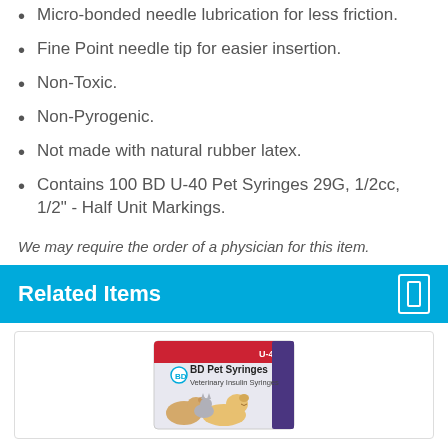Micro-bonded needle lubrication for less friction.
Fine Point needle tip for easier insertion.
Non-Toxic.
Non-Pyrogenic.
Not made with natural rubber latex.
Contains 100 BD U-40 Pet Syringes 29G, 1/2cc, 1/2" - Half Unit Markings.
We may require the order of a physician for this item.
Related Items
[Figure (photo): BD Pet Syringes veterinary insulin syringes product box with image of dogs and cats]